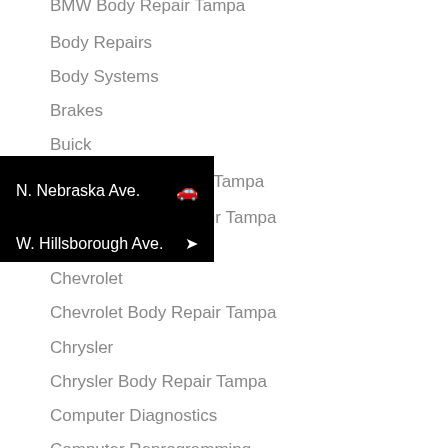BMW Body Repair Tampa
Body Repairs
Body Systems
Brakes
Buick
[Figure (screenshot): Black overlay banner showing two navigation options: 'N. Nebraska Ave.' with a car icon and 'W. Hillsborough Ave.' with a navigation arrow icon]
Cadillac Body Repair Tampa
Chevrolet
Chevrolet Body Repair Tampa
Chrysler
Chrysler Body Repair Tampa
Computer Diagnostics
Computer Reprogramming
Cooling Systems